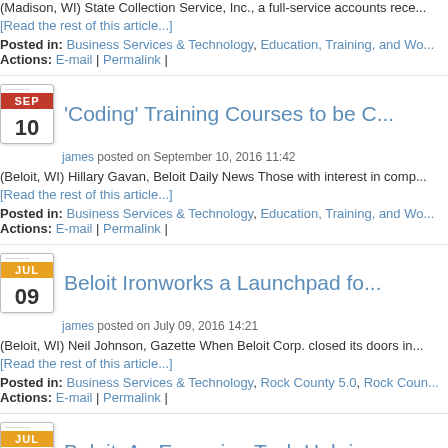(Madison, WI) State Collection Service, Inc., a full-service accounts rece...
[Read the rest of this article...]
Posted in: Business Services & Technology, Education, Training, and Wo...
Actions: E-mail | Permalink |
'Coding' Training Courses to be C...
james posted on September 10, 2016 11:42
(Beloit, WI) Hillary Gavan, Beloit Daily News Those with interest in comp...
[Read the rest of this article...]
Posted in: Business Services & Technology, Education, Training, and Wo...
Actions: E-mail | Permalink |
Beloit Ironworks a Launchpad fo...
james posted on July 09, 2016 14:21
(Beloit, WI) Neil Johnson, Gazette When Beloit Corp. closed its doors in...
[Read the rest of this article...]
Posted in: Business Services & Technology, Rock County 5.0, Rock Coun...
Actions: E-mail | Permalink |
Beloit: An Emerging Tech Hub in...
james posted on July 06, 2016 15:47
(Beloit, WI) Matt Cordio, The Milwaukee Journal Sentinel Business Blog...